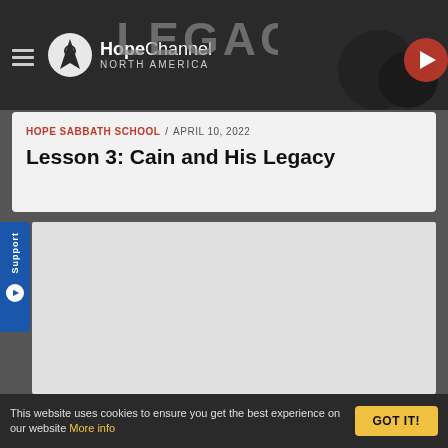[Figure (screenshot): Hope Channel North America website header with hamburger menu, logo, and Legacy banner thumbnail with play button]
HOPE SABBATH SCHOOL / APRIL 10, 2022
Lesson 3: Cain and His Legacy
[Figure (screenshot): Embedded video player area (gray placeholder)]
This website uses cookies to ensure you get the best experience on our website More info
GOT IT!